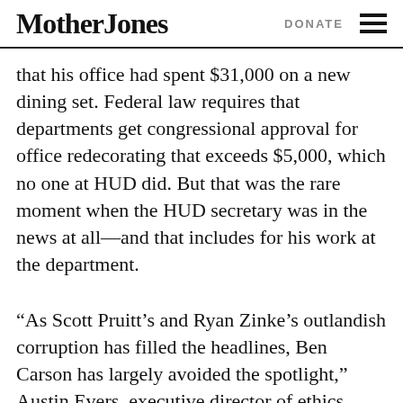Mother Jones  DONATE
that his office had spent $31,000 on a new dining set. Federal law requires that departments get congressional approval for office redecorating that exceeds $5,000, which no one at HUD did. But that was the rare moment when the HUD secretary was in the news at all—and that includes for his work at the department.
“As Scott Pruitt’s and Ryan Zinke’s outlandish corruption has filled the headlines, Ben Carson has largely avoided the spotlight,” Austin Evers, executive director of ethics watchdog group American Oversight, told Mother Jones in an emailed statement. “He’s so far been able to escape serious